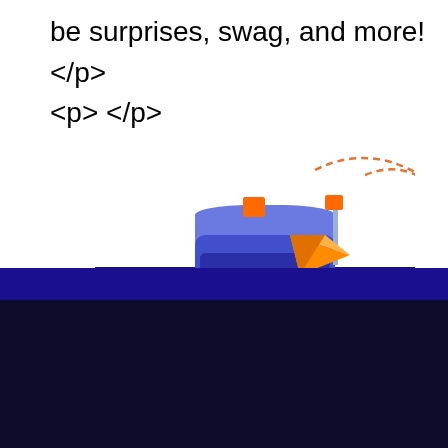be surprises, swag, and more!</p>
<p> </p>
[Figure (illustration): Illustration of a blue mailbox with an orange paper airplane flying out, surrounded by a dashed circle arc, on a dark blue banner background.]
This website uses cookies to give the best, most relevant experience and to analyse traffic. If you continue browsing, you consent to our use of cookies. You can change your preferences at any time.